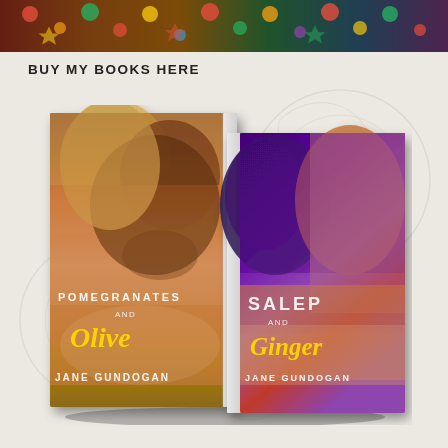[Figure (illustration): Top decorative banner with colorful folk art pattern — vibrant reds, greens, yellows on dark background]
BUY MY BOOKS HERE
[Figure (photo): Two romance novel book covers displayed side by side at slight angles. Left book: 'Pomegranates and Olive' by Jane Gundogan — cover shows a man and woman about to kiss, warm tones, gold and white lettering. Right book: 'Salep and Ginger' by Jane Gundogan — cover shows a man and woman in close profile, purple/violet lighting, gold and white lettering. Both books show spine and front cover in 3D perspective.]